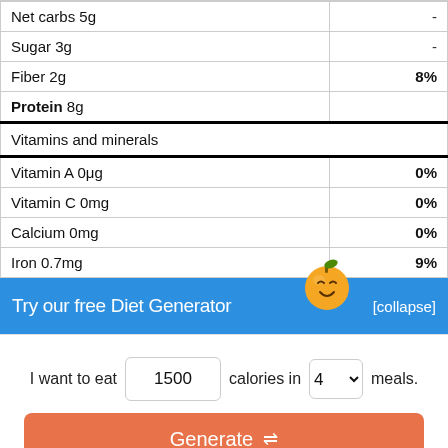| Nutrient | Value |
| --- | --- |
| Net carbs 5g | - |
| Sugar 3g | - |
| Fiber 2g | 8% |
| Protein 8g |  |
| Vitamins and minerals |  |
| Vitamin A 0μg | 0% |
| Vitamin C 0mg | 0% |
| Calcium 0mg | 0% |
| Iron 0.7mg | 9% |
Try our free Diet Generator
[collapse]
I want to eat 1500 calories in 4 meals.
Generate